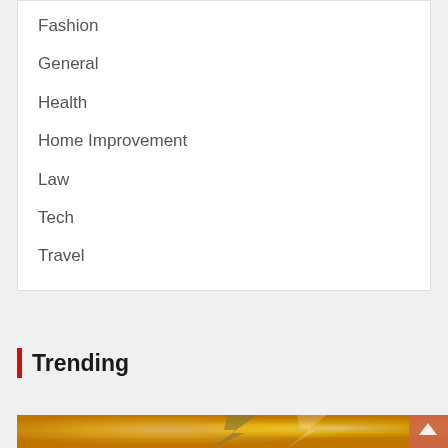Fashion
General
Health
Home Improvement
Law
Tech
Travel
Trending
[Figure (illustration): Golden/yellow textured background with a large lightning bolt graphic in gold and gray tones, with bright white light effects. A salmon/coral colored back-to-top arrow button is visible in the bottom right corner.]